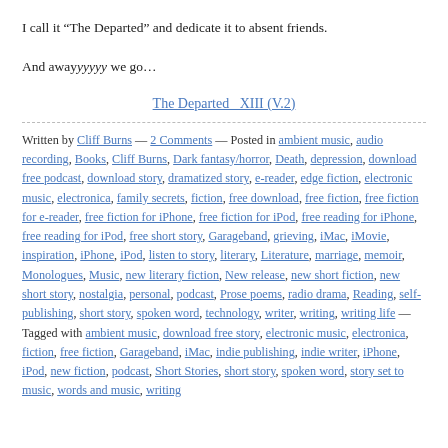I call it “The Departed” and dedicate it to absent friends.
And awayyyyyy we go…
The Departed_ XIII (V.2)
Written by Cliff Burns — 2 Comments — Posted in ambient music, audio recording, Books, Cliff Burns, Dark fantasy/horror, Death, depression, download free podcast, download story, dramatized story, e-reader, edge fiction, electronic music, electronica, family secrets, fiction, free download, free fiction, free fiction for e-reader, free fiction for iPhone, free fiction for iPod, free reading for iPhone, free reading for iPod, free short story, Garageband, grieving, iMac, iMovie, inspiration, iPhone, iPod, listen to story, literary, Literature, marriage, memoir, Monologues, Music, new literary fiction, New release, new short fiction, new short story, nostalgia, personal, podcast, Prose poems, radio drama, Reading, self-publishing, short story, spoken word, technology, writer, writing, writing life — Tagged with ambient music, download free story, electronic music, electronica, fiction, free fiction, Garageband, iMac, indie publishing, indie writer, iPhone, iPod, new fiction, podcast, Short Stories, short story, spoken word, story set to music, words and music, writing